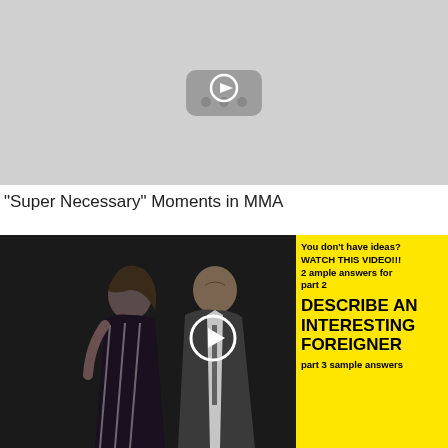[Figure (screenshot): YouTube-style video thumbnail placeholder with gray background and play button icon]
"Super Necessary" Moments in MMA
[Figure (screenshot): Photo of a woman and man at an event, overlaid with a yellow panel containing text: 'You don't have ideas? WATCH THIS VIDEO!!! 2 ample answers for part 2 DESCRIBE AN INTERESTING FOREIGNER part 3 sample answers' and a play button overlay]